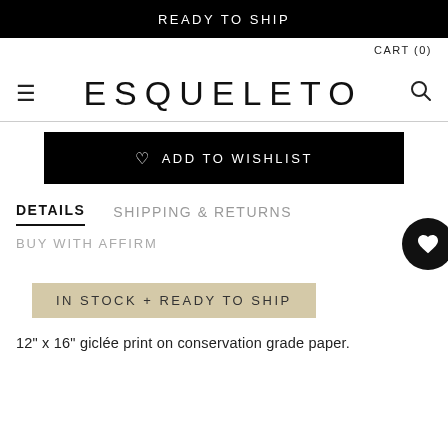READY TO SHIP
CART (0)
ESQUELETO
♡  ADD TO WISHLIST
DETAILS
SHIPPING & RETURNS
BUY WITH AFFIRM
IN STOCK + READY TO SHIP
12" x 16" giclée print on conservation grade paper.